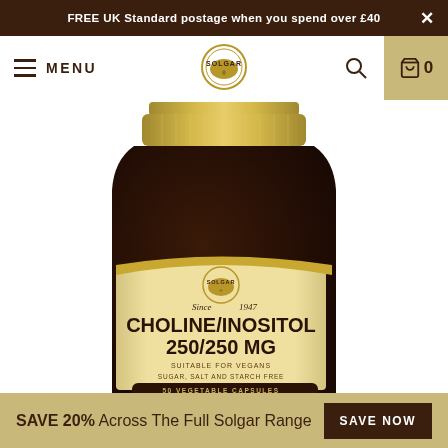FREE UK Standard postage when you spend over £40
MENU
[Figure (logo): Solgar brand logo — circular gold emblem with SOLGAR text]
[Figure (photo): Solgar Choline/Inositol 250/250 MG supplement bottle — dark brown glass jar with gold metal lid, cream label showing SOLGAR Since 1947, CHOLINE/INOSITOL 250/250 MG, SUITABLE FOR VEGANS, SUGAR, SALT AND STARCH FREE, 50 VEGETABLE CAPSULES, FOOD SUPPLEMENT]
SAVE 20% Across The Full Solgar Range  SAVE NOW